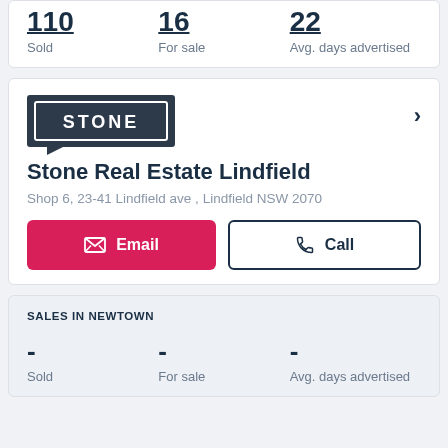Sold  For sale  Avg. days advertised
[Figure (logo): Stone Real Estate logo - dark navy speech bubble with STONE text in white]
Stone Real Estate Lindfield
Shop 6, 23-41 Lindfield ave , Lindfield NSW 2070
Email  Call
SALES IN NEWTOWN
- Sold  - For sale  - Avg. days advertised